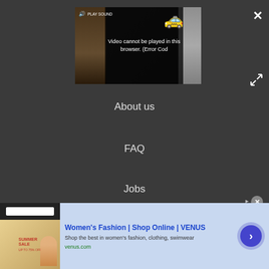[Figure (screenshot): Video player showing error message: 'Video cannot be played in this browser. (Error Cod' with speaker/play sound controls and a food delivery emoji icon. Person visible on left and right sides of video frame.]
About us
FAQ
Jobs
Contact
Archives
[Figure (infographic): Advertisement banner: Women's Fashion | Shop Online | VENUS. Shop the best in women's fashion, clothing, swimwear. venus.com. Features summer sale image on left and arrow button on right.]